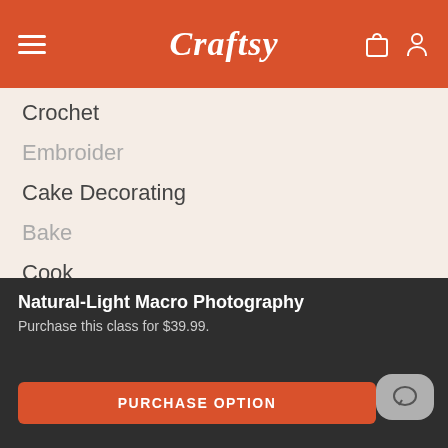Craftsy
Crochet
Embroider
Cake Decorating
Bake
Cook
Popular Projects
Coffee-Shop Cakes
Quick Quilted Gifts
Natural-Light Macro Photography
Purchase this class for $39.99.
PURCHASE OPTION